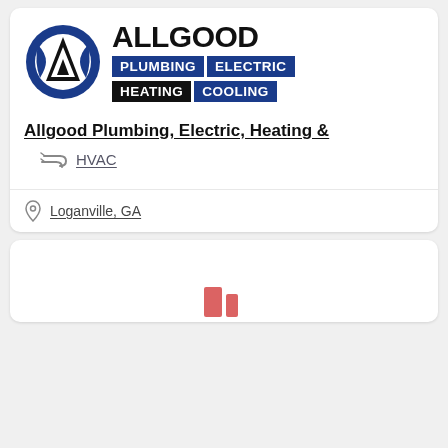[Figure (logo): Allgood Plumbing Electric Heating Cooling company logo with circular A icon and blue/black text blocks]
Allgood Plumbing, Electric, Heating & HVAC
Loganville, GA
[Figure (screenshot): Partial second card visible at bottom of page]